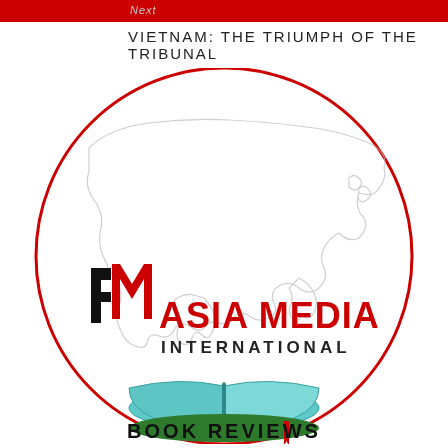Next
VIETNAM: THE TRIUMPH OF THE TRIBUNAL
[Figure (logo): Asia Media International circular logo featuring an outline map of Asia, an open book with teal cover, and the text 'AMI ASIA MEDIA INTERNATIONAL BOOK REVIEWS']